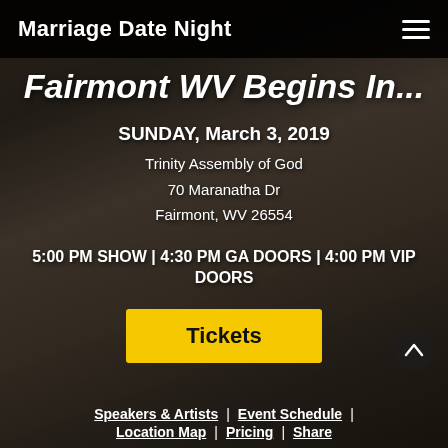Marriage Date Night
Fairmont WV Begins In...
SUNDAY, March 3, 2019
Trinity Assembly of God
70 Maranatha Dr
Fairmont, WV 26554
5:00 PM SHOW | 4:30 PM GA DOORS | 4:00 PM VIP DOORS
Tickets
Speakers & Artists  |  Event Schedule  |  Location Map  |  Pricing  |  Share